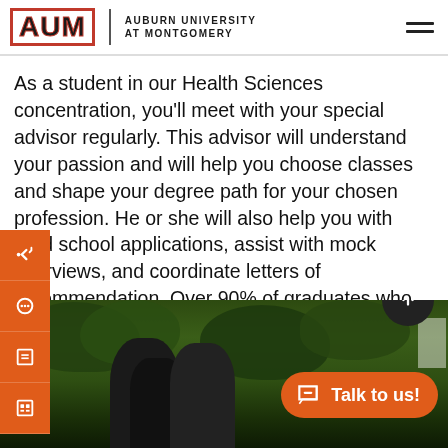AUM | Auburn University at Montgomery
As a student in our Health Sciences concentration, you'll meet with your special advisor regularly. This advisor will understand your passion and will help you choose classes and shape your degree path for your chosen profession. He or she will also help you with grad school applications, assist with mock interviews, and coordinate letters of recommendation. Over 90% of graduates who are guided by this advisor (and meet entrance requirements) are accepted into a professional graduate program.
[Figure (photo): Students photographed outdoors on campus with green trees in background. Orange Talk to us chat button visible in lower right.]